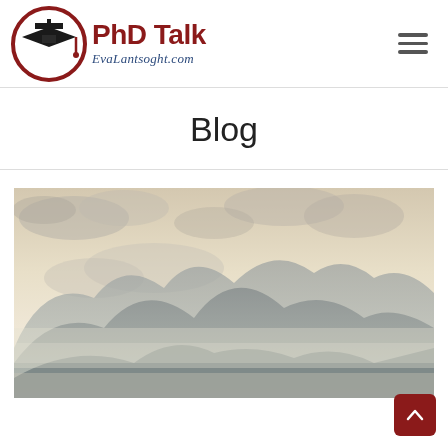[Figure (logo): PhD Talk logo with graduation cap inside a red circle, bold dark red 'PhD Talk' text, and italic blue 'EvaLantsoght.com' subtitle]
Blog
[Figure (photo): Landscape photo of mountains with clouds and a soft warm sky in the background]